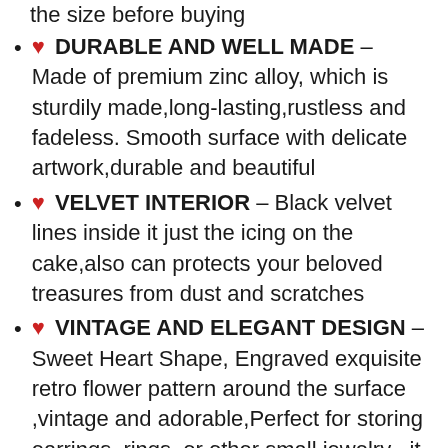(partial top) the size before buying
❤ DURABLE AND WELL MADE – Made of premium zinc alloy, which is sturdily made,long-lasting,rustless and fadeless. Smooth surface with delicate artwork,durable and beautiful
❤ VELVET INTERIOR – Black velvet lines inside it just the icing on the cake,also can protects your beloved treasures from dust and scratches
❤ VINTAGE AND ELEGANT DESIGN – Sweet Heart Shape, Engraved exquisite retro flower pattern around the surface ,vintage and adorable,Perfect for storing earrings, rings, or other small jewelry , it is also a very attractive retro tabletop décor which enhances the overall aesthetic